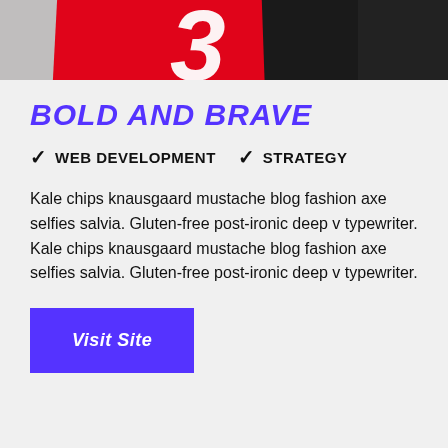[Figure (photo): Top portion of a tablet/laptop device with a red background and a white number/logo visible, shown at an angle on a gray surface]
BOLD AND BRAVE
✓ WEB DEVELOPMENT
✓ STRATEGY
Kale chips knausgaard mustache blog fashion axe selfies salvia. Gluten-free post-ironic deep v typewriter. Kale chips knausgaard mustache blog fashion axe selfies salvia. Gluten-free post-ironic deep v typewriter.
Visit Site